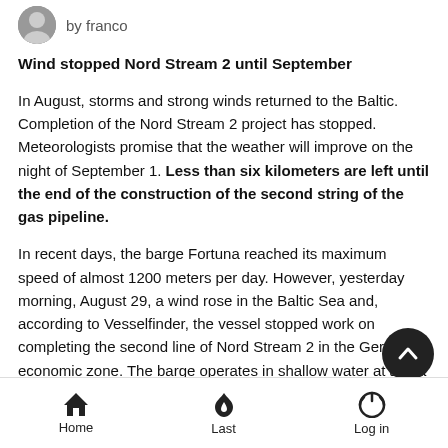by franco
Wind stopped Nord Stream 2 until September
In August, storms and strong winds returned to the Baltic. Completion of the Nord Stream 2 project has stopped. Meteorologists promise that the weather will improve on the night of September 1. Less than six kilometers are left until the end of the construction of the second string of the gas pipeline.
In recent days, the barge Fortuna reached its maximum speed of almost 1200 meters per day. However, yesterday morning, August 29, a wind rose in the Baltic Sea and, according to Vesselfinder, the vessel stopped work on completing the second line of Nord Stream 2 in the German economic zone. The barge operates in shallow water at a sea depth of up to 25 meters using anchor positioning.
Home  Last  Log in